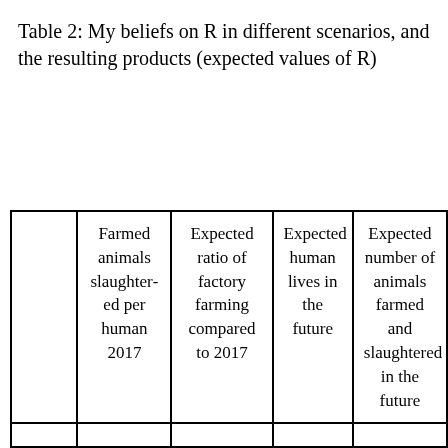Table 2: My beliefs on R in different scenarios, and the resulting products (expected values of R)
|  | Farmed animals slaughtered per human 2017 | Expected ratio of factory farming compared to 2017 | Expected human lives in the future | Expected number of animals farmed and slaughtered in the future |
| --- | --- | --- | --- | --- |